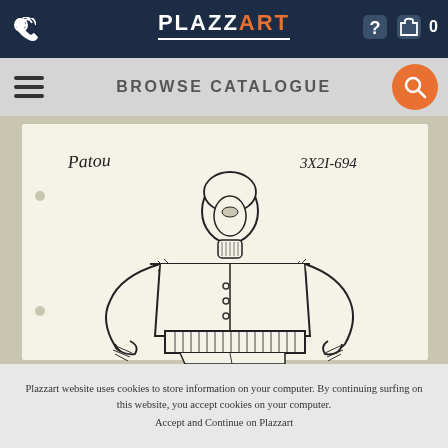PLAZZART
BROWSE CATALOGUE
[Figure (illustration): Fashion design sketch on white card labeled 'Patou' with reference number '3X2I-694', showing a figure in a structured jacket with padded shoulders, blouson sleeves, wide pleated belt, and fitted cap.]
Plazzart website uses cookies to store information on your computer. By continuing surfing on this website, you accept cookies on your computer. Accept and Continue on Plazzart